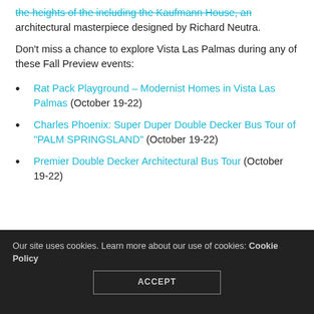...the heights of the including the Kaufmann House, an architectural masterpiece designed by Richard Neutra.
Don't miss a chance to explore Vista Las Palmas during any of these Fall Preview events:
Rat Pack Playground – Modernist Homes in Vista Las Palmas (October 19-22)
Charles Phoenix: Super Duper Double Decker Bus Tour of "PALM SPRINGSLAND" (October 19-22)
Premier Double Decker Architectural Bus Tour (October 19-22)
Our site uses cookies. Learn more about our use of cookies: Cookie Policy